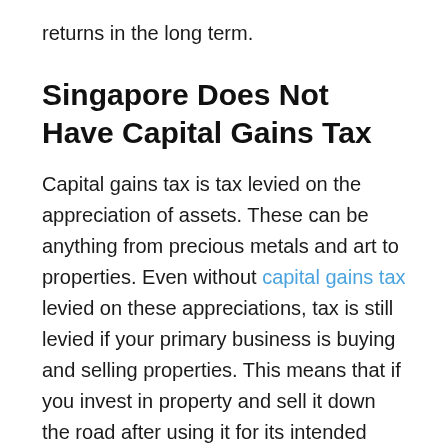returns in the long term.
Singapore Does Not Have Capital Gains Tax
Capital gains tax is tax levied on the appreciation of assets. These can be anything from precious metals and art to properties. Even without capital gains tax levied on these appreciations, tax is still levied if your primary business is buying and selling properties. This means that if you invest in property and sell it down the road after using it for its intended purpose, you will not be charged capital gains tax on it.